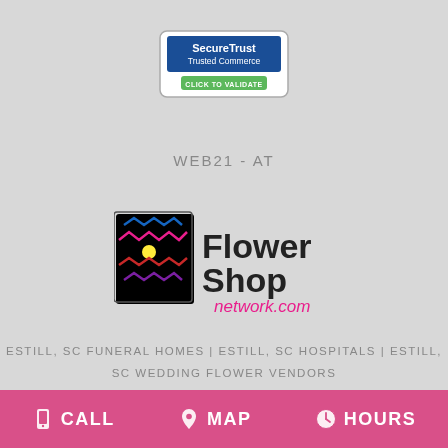[Figure (logo): SecureTrust Trusted Commerce - Click to Validate badge]
WEB21 - AT
[Figure (logo): Flower Shop Network.com logo]
ESTILL, SC FUNERAL HOMES | ESTILL, SC HOSPITALS | ESTILL, SC WEDDING FLOWER VENDORS
ESTILL, SC WEATHER | SC STATE GOVERNMENT SITE
PRIVACY POLICY | TERMS OF PURCHASE
CALL   MAP   HOURS